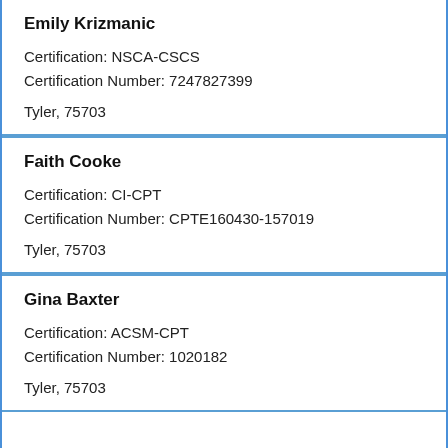Emily Krizmanic
Certification: NSCA-CSCS
Certification Number: 7247827399
Tyler, 75703
Faith Cooke
Certification: CI-CPT
Certification Number: CPTE160430-157019
Tyler, 75703
Gina Baxter
Certification: ACSM-CPT
Certification Number: 1020182
Tyler, 75703